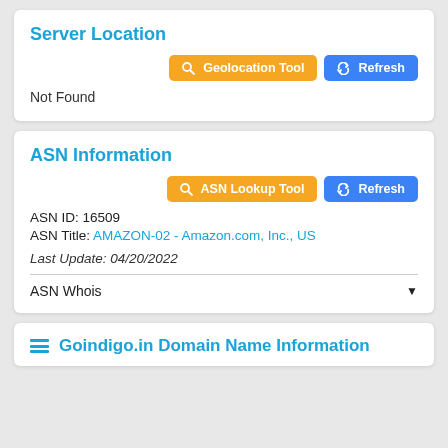Server Location
Geolocation Tool   Refresh
Not Found
ASN Information
ASN Lookup Tool   Refresh
ASN ID: 16509
ASN Title: AMAZON-02 - Amazon.com, Inc., US
Last Update: 04/20/2022
ASN Whois
Goindigo.in Domain Name Information